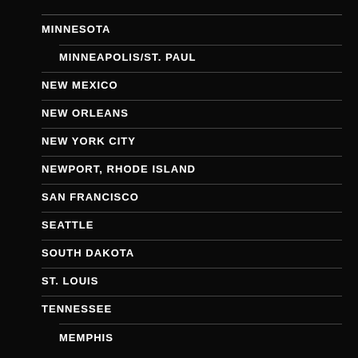MINNESOTA
MINNEAPOLIS/ST. PAUL
NEW MEXICO
NEW ORLEANS
NEW YORK CITY
NEWPORT, RHODE ISLAND
SAN FRANCISCO
SEATTLE
SOUTH DAKOTA
ST. LOUIS
TENNESSEE
MEMPHIS